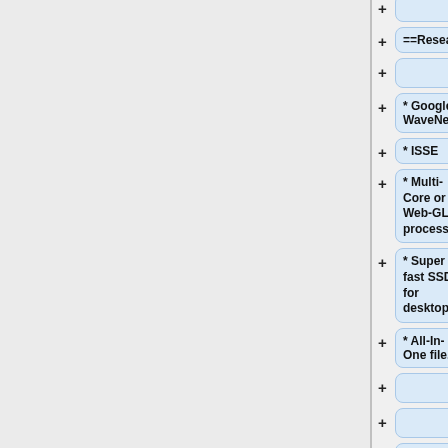[Figure (screenshot): Wiki diff editor interface showing a two-panel layout. Left panel is a gray sidebar. Right panel shows a list of diff rows with + buttons and blue pill-shaped text boxes containing wiki markup items including ==Research==, empty rows, * Google WaveNet, * ISSE, * Multi-Core or Web-GL processing., * Super fast SSD for desktop, * All-In-One file., empty rows, ==My Pages==, and * [http://wiki.audacit...]
==Research==
* Google WaveNet
* ISSE
* Multi-Core or Web-GL processing.
* Super fast SSD for desktop
* All-In-One file.
==My Pages==
* [http://wiki.audacit...